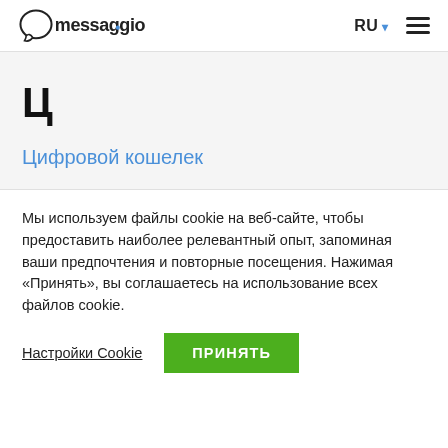messaggio | RU ≡
Ц
Цифровой кошелек
Мы используем файлы cookie на веб-сайте, чтобы предоставить наиболее релевантный опыт, запоминая ваши предпочтения и повторные посещения. Нажимая «Принять», вы соглашаетесь на использование всех файлов cookie.
Настройки Cookie | ПРИНЯТЬ